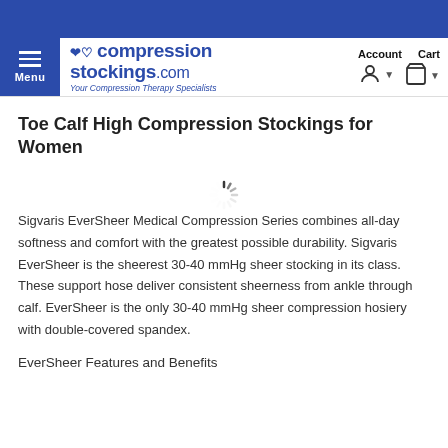[Figure (logo): CompressionStockings.com logo with tagline 'Your Compression Therapy Specialists' and blue menu button]
Toe Calf High Compression Stockings for Women
Sigvaris EverSheer Medical Compression Series combines all-day softness and comfort with the greatest possible durability. Sigvaris EverSheer is the sheerest 30-40 mmHg sheer stocking in its class. These support hose deliver consistent sheerness from ankle through calf. EverSheer is the only 30-40 mmHg sheer compression hosiery with double-covered spandex.
EverSheer Features and Benefits